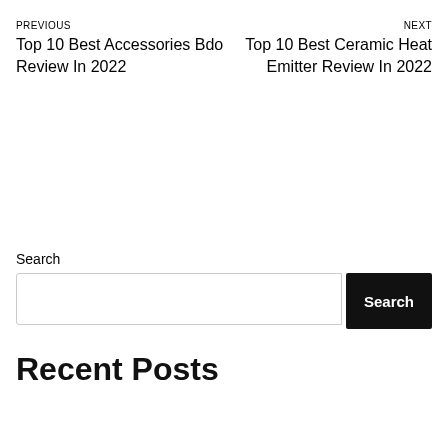PREVIOUS
Top 10 Best Accessories Bdo Review In 2022
NEXT
Top 10 Best Ceramic Heat Emitter Review In 2022
Search
Recent Posts